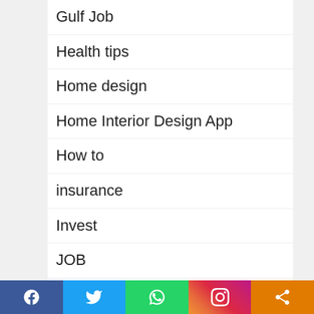Gulf Job
Health tips
Home design
Home Interior Design App
How to
insurance
Invest
JOB
Kerala Govt Scheme
Kerala Lottery Result
News
Online Job
[Figure (infographic): Social share bar with Facebook, Twitter, WhatsApp, Instagram, and Share buttons]